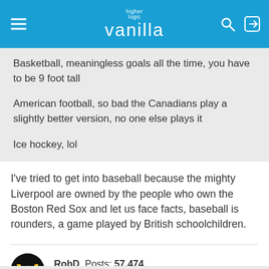higher logic vanilla
Basketball, meaningless goals all the time, you have to be 9 foot tall

American football, so bad the Canadians play a slightly better version, no one else plays it

Ice hockey, lol
I've tried to get into baseball because the mighty Liverpool are owned by the people who own the Boston Red Sox and let us face facts, baseball is rounders, a game played by British schoolchildren.
RobD  Posts: 57,474
July 2021